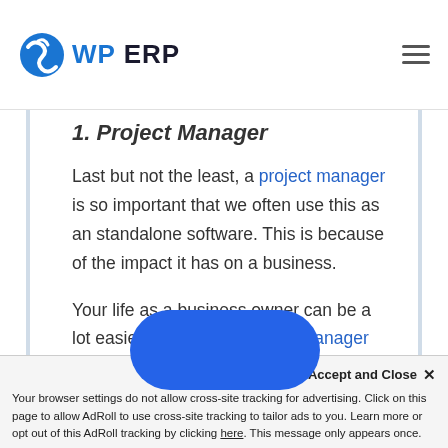WP ERP
1. Project Manager
Last but not the least, a project manager is so important that we often use this as an standalone software. This is because of the impact it has on a business.
Your life as a business owner can be a lot easier with a good project manager module. Project manager lets you create projects, task lists, assign tas[k to emplo]oyees and most importantly m[anage every sin]gle
Accept and Close ✕
Your browser settings do not allow cross-site tracking for advertising. Click on this page to allow AdRoll to use cross-site tracking to tailor ads to you. Learn more or opt out of this AdRoll tracking by clicking here. This message only appears once.